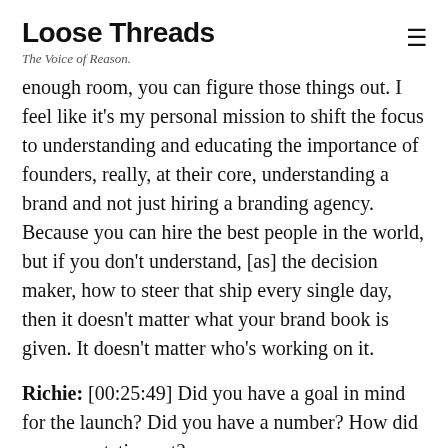Loose Threads
The Voice of Reason.
enough room, you can figure those things out. I feel like it's my personal mission to shift the focus to understanding and educating the importance of founders, really, at their core, understanding a brand and not just hiring a branding agency. Because you can hire the best people in the world, but if you don't understand, [as] the decision maker, how to steer that ship every single day, then it doesn't matter what your brand book is given. It doesn't matter who's working on it.
Richie: [00:25:49] Did you have a goal in mind for the launch? Did you have a number? How did you expectation set?